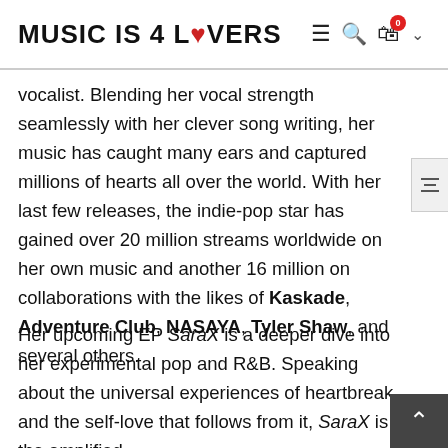MUSIC IS 4 LOVERS
vocalist. Blending her vocal strength seamlessly with her clever song writing, her music has caught many ears and captured millions of hearts all over the world. With her last few releases, the indie-pop star has gained over 20 million streams worldwide on her own music and another 16 million on collaborations with the likes of Kaskade, Adventure Club, NASAYA, Tyler Shaw, and several others.
Her upcoming EP SaraX is a deeper dive into her experimental pop and R&B. Speaking about the universal experiences of heartbreak and the self-love that follows from it, SaraX is the amplified…